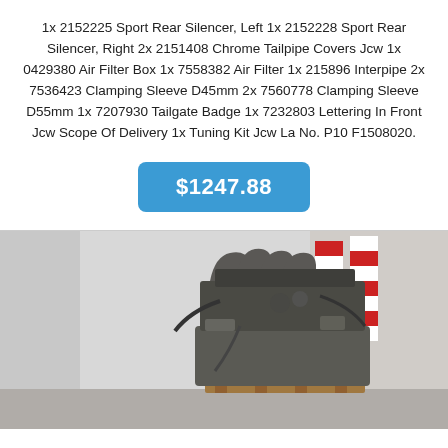1x 2152225 Sport Rear Silencer, Left 1x 2152228 Sport Rear Silencer, Right 2x 2151408 Chrome Tailpipe Covers Jcw 1x 0429380 Air Filter Box 1x 7558382 Air Filter 1x 215896 Interpipe 2x 7536423 Clamping Sleeve D45mm 2x 7560778 Clamping Sleeve D55mm 1x 7207930 Tailgate Badge 1x 7232803 Lettering In Front Jcw Scope Of Delivery 1x Tuning Kit Jcw La No. P10 F1508020.
$1247.88
[Figure (photo): Photo of a vehicle engine (appears to be a JCW/Mini engine) sitting on a wooden pallet on a concrete floor, with red and white barriers visible in the background.]